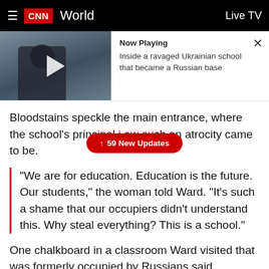CNN World | Live TV
[Figure (screenshot): Video thumbnail showing a person in winter clothing outdoors, with a play button overlay. 'Now Playing' label with title 'Inside a ravaged Ukrainian school that became a Russian base'. Close button (X) in top right.]
Bloodstains speckle the main entrance, where the school's principal i… ow such an atrocity came to be.
↑ 59 New Updates
“We are for education. Education is the future. Our students,” the woman told Ward. “It’s such a shame that our occupiers didn’t understand this. Why steal everything? This is a school.”
One chalkboard in a classroom Ward visited that was formerly occupied by Russians said, "Forgive us, we didn’t want this war."